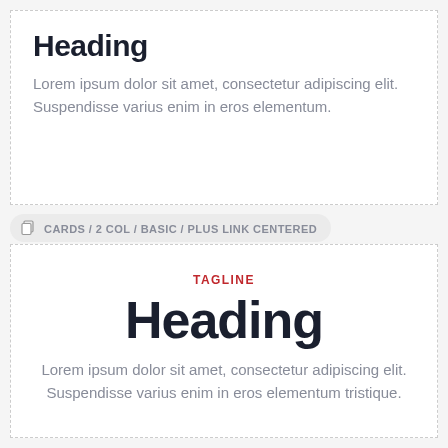Heading
Lorem ipsum dolor sit amet, consectetur adipiscing elit. Suspendisse varius enim in eros elementum.
CARDS / 2 COL / BASIC / PLUS LINK CENTERED
TAGLINE
Heading
Lorem ipsum dolor sit amet, consectetur adipiscing elit. Suspendisse varius enim in eros elementum tristique.